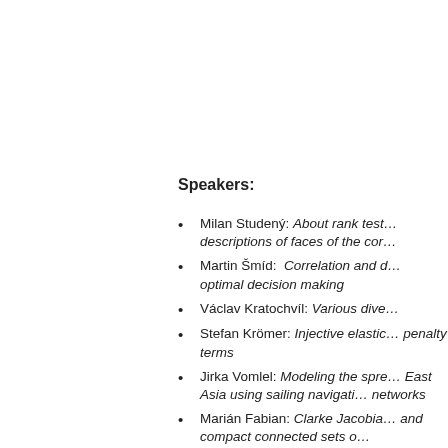Speakers:
Milan Studený: About rank test… descriptions of faces of the cor…
Martin Šmíd:  Correlation and d… optimal decision making
Václav Kratochvíl: Various dive…
Stefan Krömer: Injective elastic… penalty terms
Jirka Vomlel: Modeling the spre… East Asia using sailing navigati… networks
Marián Fabian: Clarke Jacobia… and compact connected sets o…
Paolo Gidoni: Assymptotic stab… optimal control for a bio-inspire…
Jiřina Vejnarová: On the role of… framework of imprecise probab…
Veronika Lipovská: Multistage c… of change
Lukáš Adam: Machine learning…
Jan Valdman: Fast Matlab s…